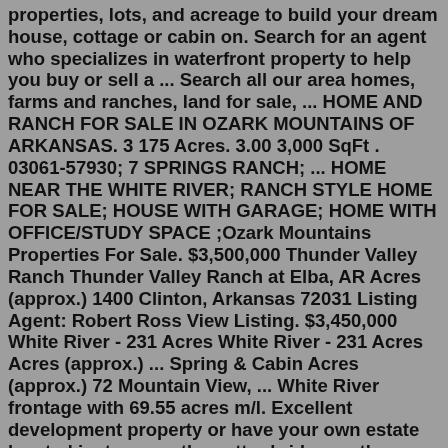properties, lots, and acreage to build your dream house, cottage or cabin on. Search for an agent who specializes in waterfront property to help you buy or sell a ... Search all our area homes, farms and ranches, land for sale, ... HOME AND RANCH FOR SALE IN OZARK MOUNTAINS OF ARKANSAS. 3 175 Acres. 3.00 3,000 SqFt . 03061-57930; 7 SPRINGS RANCH; ... HOME NEAR THE WHITE RIVER; RANCH STYLE HOME FOR SALE; HOUSE WITH GARAGE; HOME WITH OFFICE/STUDY SPACE ;Ozark Mountains Properties For Sale. $3,500,000 Thunder Valley Ranch Thunder Valley Ranch at Elba, AR Acres (approx.) 1400 Clinton, Arkansas 72031 Listing Agent: Robert Ross View Listing. $3,450,000 White River - 231 Acres White River - 231 Acres Acres (approx.) ... Spring & Cabin Acres (approx.) 72 Mountain View, ... White River frontage with 69.55 acres m/l. Excellent development property or have your own estate located just across the cotter bridge on the Marion County side an easy drive to Mtn. Home. Enjoy over 1500 feet of White River